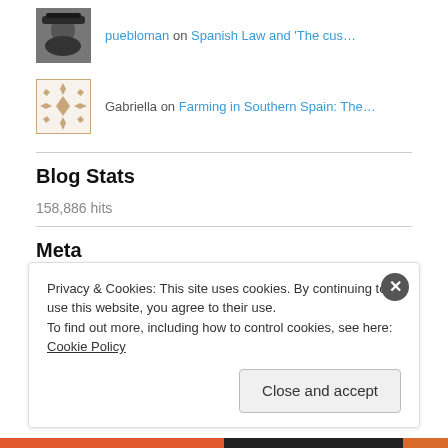puebloman on Spanish Law and 'The cus…'
[Figure (photo): Avatar photo of a person wearing a black hat]
Gabriella on Farming in Southern Spain: The…
[Figure (illustration): Square decorative geometric pattern avatar in tan/beige]
Blog Stats
158,886 hits
Meta
Privacy & Cookies: This site uses cookies. By continuing to use this website, you agree to their use.
To find out more, including how to control cookies, see here: Cookie Policy
Close and accept